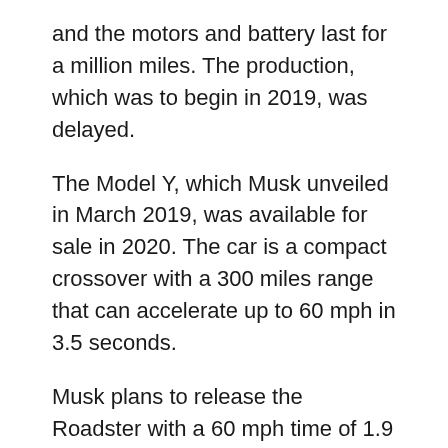and the motors and battery last for a million miles. The production, which was to begin in 2019, was delayed.
The Model Y, which Musk unveiled in March 2019, was available for sale in 2020. The car is a compact crossover with a 300 miles range that can accelerate up to 60 mph in 3.5 seconds.
Musk plans to release the Roadster with a 60 mph time of 1.9 seconds.
SolarCity:
Elon Musk helped his cousins (Lydon and Peter Rive) start a solar energy company (SolarCity